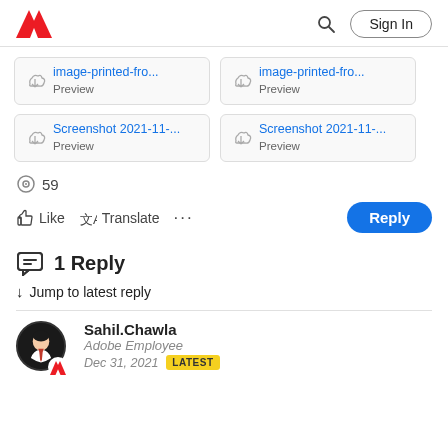Adobe | Sign In
[Figure (screenshot): Four attachment preview cards: image-printed-fro... Preview (x2) and Screenshot 2021-11-... Preview (x2)]
59
Like  Translate  ...  Reply
1 Reply
↓ Jump to latest reply
Sahil.Chawla
Adobe Employee
Dec 31, 2021  LATEST